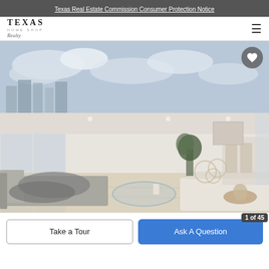Texas Real Estate Commission Consumer Protection Notice
[Figure (logo): Texas Home Shop Realty logo with hamburger menu icon]
[Figure (photo): Interior photo of a high-rise luxury condo living room with floor-to-ceiling windows showing a city skyline view, modern furniture including white sofas, round glass coffee table, and an open dining area]
1 of 45
Take a Tour
Ask A Question